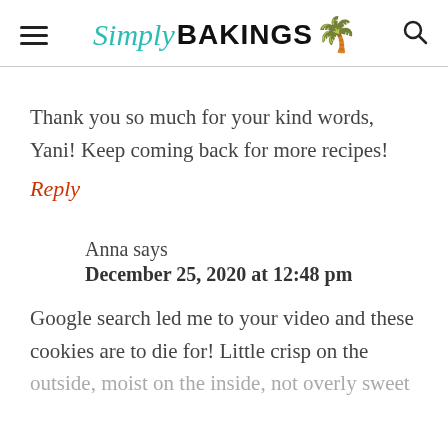Simply BAKINGS 🌴
Thank you so much for your kind words, Yani! Keep coming back for more recipes!
Reply
Anna says
December 25, 2020 at 12:48 pm
Google search led me to your video and these cookies are to die for! Little crisp on the outside, moist on the inside, not overly sweet